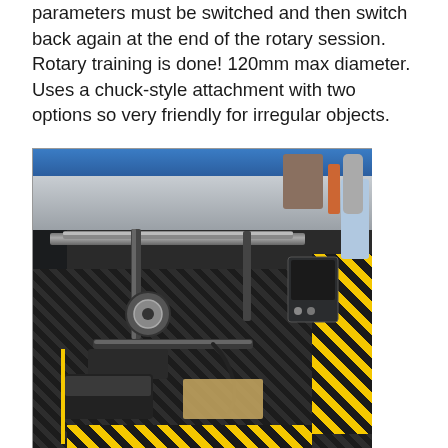parameters must be switched and then switch back again at the end of the rotary session. Rotary training is done! 120mm max diameter. Uses a chuck-style attachment with two options so very friendly for irregular objects.
[Figure (photo): Photograph of an open laser cutter machine bed showing a rotary chuck-style attachment mounted on rails inside the machine. The machine has a dark honeycomb-style cutting bed, yellow and black hazard tape on the edges, a blue lid at the top, and various mechanical components including the chuck rotary device.]